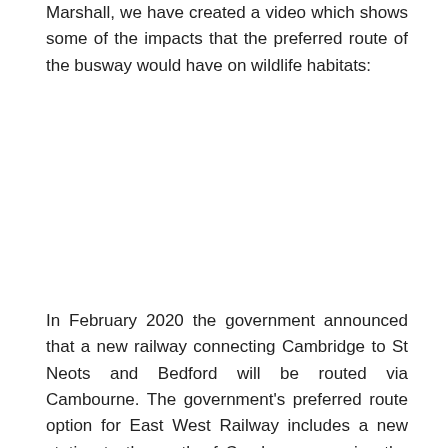Marshall, we have created a video which shows some of the impacts that the preferred route of the busway would have on wildlife habitats:
In February 2020 the government announced that a new railway connecting Cambridge to St Neots and Bedford will be routed via Cambourne. The government's preferred route option for East West Railway includes a new station to the north of Cambourne serving the A428. This would provide the mass transport system for the west of